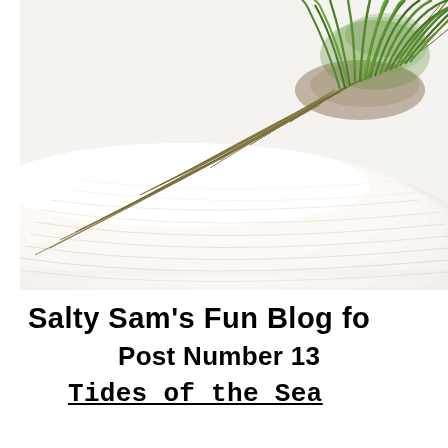[Figure (photo): Beach scene with white sand and clumps of green beach grass with long wispy blades spreading across the white sand, viewed from above and to the side. The grass cluster is positioned in the upper right area of the image.]
Salty Sam's Fun Blog fo
Post Number 13
Tides of the Sea